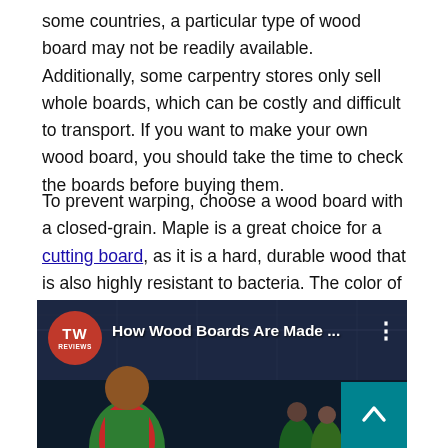availability of these materials that also play in some countries, a particular type of wood board may not be readily available. Additionally, some carpentry stores only sell whole boards, which can be costly and difficult to transport. If you want to make your own wood board, you should take the time to check the boards before buying them.
To prevent warping, choose a wood board with a closed-grain. Maple is a great choice for a cutting board, as it is a hard, durable wood that is also highly resistant to bacteria. The color of maple is neutral, and it won't dull your knife. Walnut, on the other hand, is a rich, dark hardwood that falls in the "just right" category of hardness. However, it is not as easy to care for as cherry.
[Figure (screenshot): YouTube-style video thumbnail showing 'How Wood Boards Are Made ...' with a TW Reviews red circular logo, a person in a green and red vest in what appears to be a factory/warehouse setting, and a teal scroll-to-top button in the bottom right corner.]